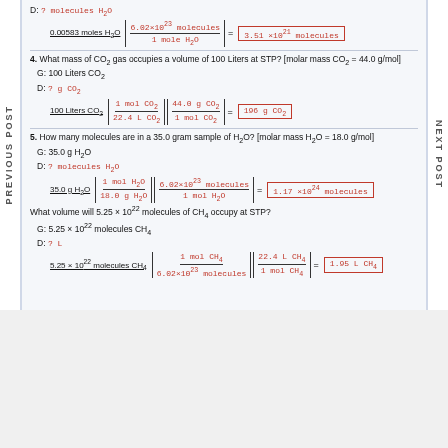[Figure (screenshot): Chemistry worksheet page showing mole conversion problems with handwritten solutions. Problems include: D: ? molecules H2O with solution 0.00583 moles H2O × (6.02×10^23 molecules / 1 mole H2O) = 3.51×10^21 molecules. Problem 4: What mass of CO2 gas occupies a volume of 100 Liters at STP? [molar mass CO2 = 44.0 g/mol], G: 100 Liters CO2, D: ? g CO2, solution: 100 Liters CO2 × (1 mol CO2 / 22.4 L CO2) × (44.0 g CO2 / 1 mol CO2) = 196 g CO2. Problem 5: How many molecules are in a 35.0 gram sample of H2O? [molar mass H2O = 18.0 g/mol], G: 35.0 g H2O, D: ? molecules H2O, solution: 35.0 g H2O × (1 mol H2O / 18.0 g H2O) × (6.02×10^23 molecules / 1 mol H2O) = 1.17×10^24 molecules. Problem 6: What volume will 5.25×10^22 molecules of CH4 occupy at STP?, G: 5.25×10^22 molecules CH4, D: ? L, solution: 5.25×10^22 molecules CH4 × (1 mol CH4 / 6.02×10^23 molecules) × (22.4 L CH4 / 1 mol CH4) = 1.95 L CH4. PREVIOUS POST and NEXT POST navigation labels on sides.]
WORKSHEET
Molarity Practice Problems